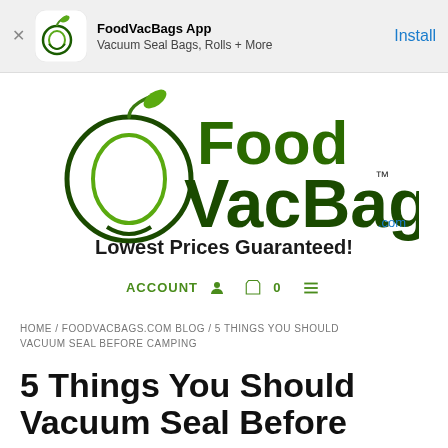[Figure (screenshot): App install banner for FoodVacBags App showing logo icon, app name, subtitle 'Vacuum Seal Bags, Rolls + More', and Install button]
[Figure (logo): FoodVacBags.com logo with circular fruit graphic, large green text 'Food VacBags' with TM mark, tagline 'Lowest Prices Guaranteed!']
ACCOUNT  0
HOME / FOODVACBAGS.COM BLOG / 5 THINGS YOU SHOULD VACUUM SEAL BEFORE CAMPING
5 Things You Should Vacuum Seal Before